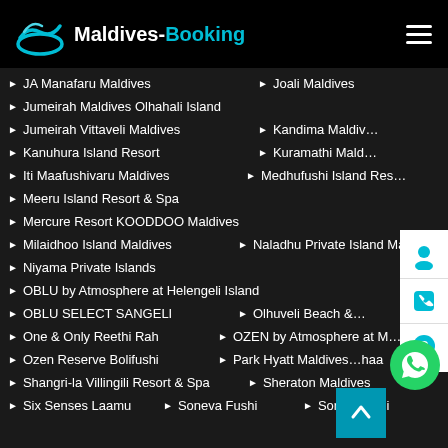Maldives-Booking
JA Manafaru Maldives
Joali Maldives
Jumeirah Maldives Olhahali Island
Jumeirah Vittaveli Maldives
Kandima Maldives
Kanuhura Island Resort
Kuramathi Maldives
Iti Maafushivaru Maldives
Medhufushi Island Resort
Meeru Island Resort & Spa
Mercure Resort KOODDOO Maldives
Milaidhoo Island Maldives
Naladhu Private Island Maldives
Niyama Private Islands
OBLU by Atmosphere at Helengeli Island
OBLU SELECT SANGELI
Olhuveli Beach
One & Only Reethi Rah
OZEN by Atmosphere at Maadhoo
Ozen Reserve Bolifushi
Park Hyatt Maldives Hadahaa
Shangri-la Villingili Resort & Spa
Sheraton Maldives
Six Senses Laamu
Soneva Fushi
Soneva Jani